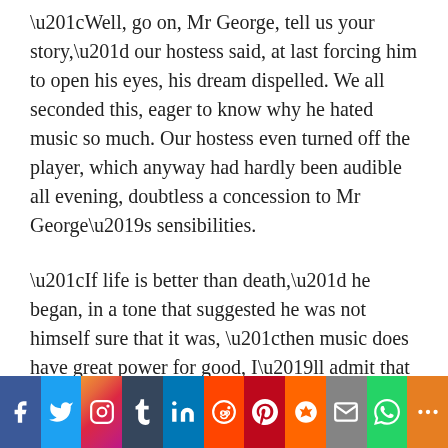“Well, go on, Mr George, tell us your story,” our hostess said, at last forcing him to open his eyes, his dream dispelled. We all seconded this, eager to know why he hated music so much. Our hostess even turned off the player, which anyway had hardly been audible all evening, doubtless a concession to Mr George’s sensibilities.
“If life is better than death,” he began, in a tone that suggested he was not himself sure that it was, “then music does have great power for good, I’ll admit that much.”
[Figure (infographic): Social media sharing bar with buttons for Facebook, Twitter, Instagram, Tumblr, LinkedIn, Reddit, Pinterest, Mix, Mail, WhatsApp, and More]